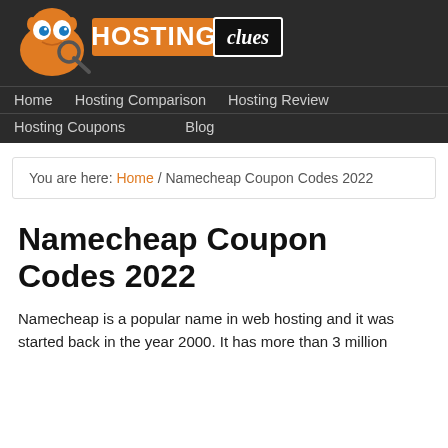[Figure (logo): HostingClues logo: orange cartoon character with magnifying glass, text HOSTING in orange on dark background, clues in white italic on black box]
Home  Hosting Comparison  Hosting Review  Hosting Coupons  Blog
You are here: Home / Namecheap Coupon Codes 2022
Namecheap Coupon Codes 2022
Namecheap is a popular name in web hosting and it was started back in the year 2000. It has more than 3 million